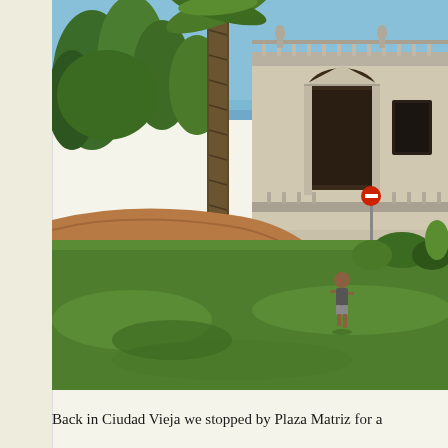[Figure (photo): Outdoor photo of a neoclassical building with arched windows and balustrade with statues on top, surrounded by tall trees including a large palm tree in the center. A young child is standing on a bright green lawn in the foreground. A dirt/terracotta path curves in the middle ground. Clear blue sky in the background.]
Back in Ciudad Vieja we stopped by Plaza Matriz for a